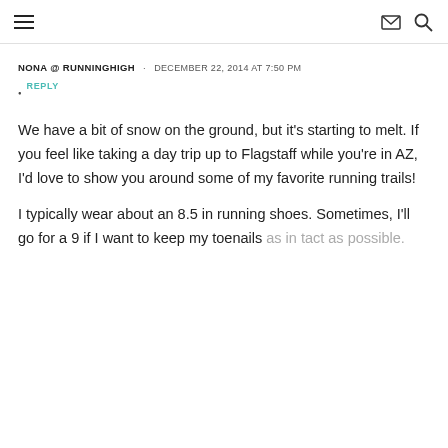≡  ✉ 🔍
NONA @ RUNNINGHIGH · DECEMBER 22, 2014 AT 7:50 PM
• REPLY
We have a bit of snow on the ground, but it's starting to melt. If you feel like taking a day trip up to Flagstaff while you're in AZ, I'd love to show you around some of my favorite running trails!
I typically wear about an 8.5 in running shoes. Sometimes, I'll go for a 9 if I want to keep my toenails as in tact as possible.